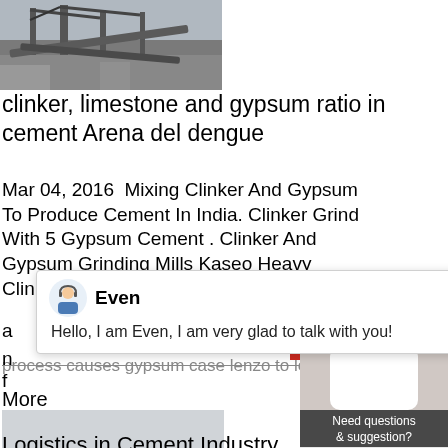[Figure (photo): Industrial cement plant machinery with conveyor belts and metal structures, aerial/side view]
clinker, limestone and gypsum ratio in cement Arena del dengue
Mar 04, 2016  Mixing Clinker And Gypsum To Produce Cement In India. Clinker Grind With 5 Gypsum Cement . Clinker And Gypsum Grinding Mills Kaseo Heavy Clinker a n f
process causes gypsum case lenzo to le
More
[Figure (photo): Aerial view of a large open-air industrial cement plant or quarry with heavy machinery and equipment in snowy or dusty conditions]
Logistics in Cement Industry
[Figure (screenshot): Chat popup widget with avatar of agent named Even and greeting message: Hello, I am Even, I am very glad to talk with you!]
[Figure (photo): Customer service representative with headset smiling, with a notification badge showing '1', a 'Need questions & suggestion?' box, and a 'Chat Now' button]